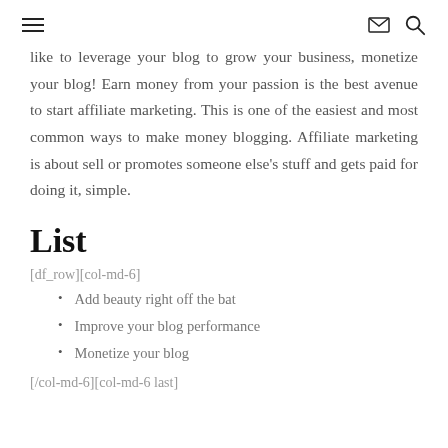≡  ✉ 🔍
like to leverage your blog to grow your business, monetize your blog! Earn money from your passion is the best avenue to start affiliate marketing. This is one of the easiest and most common ways to make money blogging. Affiliate marketing is about sell or promotes someone else's stuff and gets paid for doing it, simple.
List
[df_row][col-md-6]
Add beauty right off the bat
Improve your blog performance
Monetize your blog
[/col-md-6][col-md-6 last]